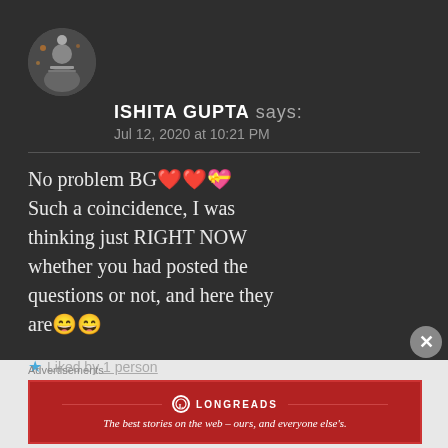[Figure (screenshot): User avatar circular photo showing a person reading a book, dark background]
ISHITA GUPTA says: Jul 12, 2020 at 10:21 PM
No problem BG❤️❤️💝 Such a coincidence, I was thinking just RIGHT NOW whether you had posted the questions or not, and here they are😄😄
★ Liked by 1 person
Advertisements
[Figure (logo): Longreads advertisement banner: red background with Longreads logo and tagline 'The best stories on the web – ours, and everyone else's.']